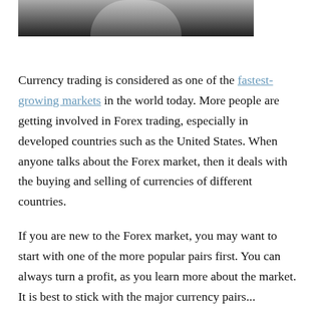[Figure (photo): Partial black and white photo, showing a person from below the neck, suggesting a formal or business setting.]
Currency trading is considered as one of the fastest-growing markets in the world today. More people are getting involved in Forex trading, especially in developed countries such as the United States. When anyone talks about the Forex market, then it deals with the buying and selling of currencies of different countries.
If you are new to the Forex market, you may want to start with one of the more popular pairs first. You can always turn a profit, as you learn more about the market. It is best to stick with the major currency pairs...